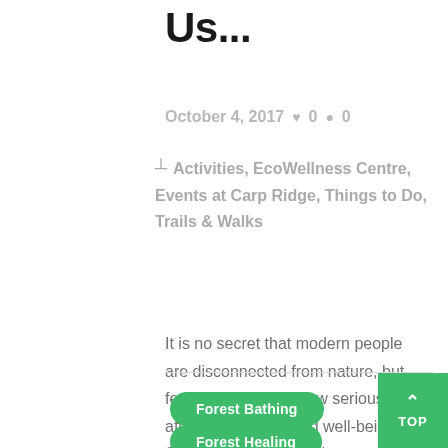Us...
October 4, 2017  ♥ 0  ● 0
Activities, EcoWellness Centre, Events at Carp Ridge, Things to Do, Trails & Walks
It is no secret that modern people are disconnected from nature, but few people realize how seriously this affects our health and well-being. Staying up too late with strong lights, excessive use of...
Forest Bathing
Forest Healing
Forest Therapy